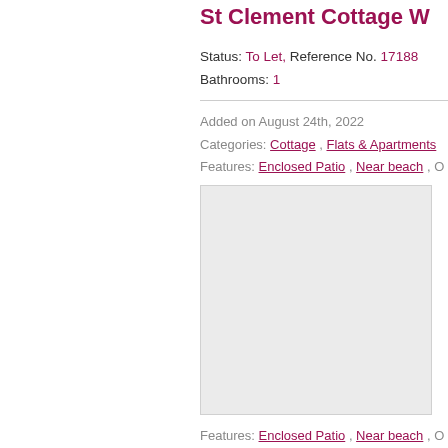St Clement Cottage W
Status: To Let, Reference No. 17188
Bathrooms: 1
Added on August 24th, 2022
Categories: Cottage, Flats & Apartments
Features: Enclosed Patio, Near beach, O
[Figure (other): Map or image placeholder shown as a grey rectangle]
Features: Enclosed Patio, Near beach, O
Listed under Cottage, Flats & Apartment